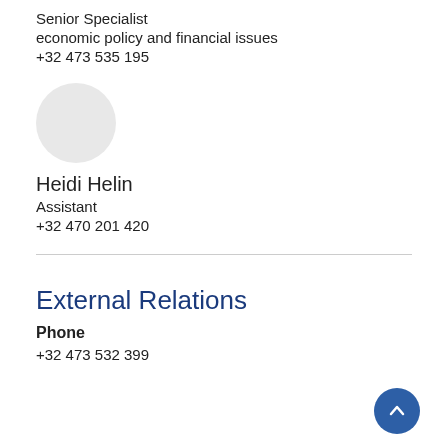Senior Specialist
economic policy and financial issues
+32 473 535 195
[Figure (illustration): Circular grey placeholder avatar photo]
Heidi Helin
Assistant
+32 470 201 420
External Relations
Phone
+32 473 532 399